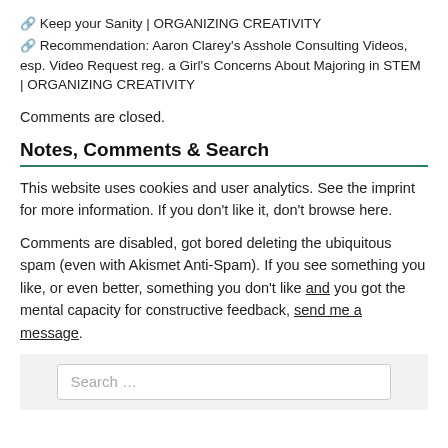🔗 Keep your Sanity | ORGANIZING CREATIVITY
🔗 Recommendation: Aaron Clarey's Asshole Consulting Videos, esp. Video Request reg. a Girl's Concerns About Majoring in STEM | ORGANIZING CREATIVITY
Comments are closed.
Notes, Comments & Search
This website uses cookies and user analytics. See the imprint for more information. If you don't like it, don't browse here.
Comments are disabled, got bored deleting the ubiquitous spam (even with Akismet Anti-Spam). If you see something you like, or even better, something you don't like and you got the mental capacity for constructive feedback, send me a message.